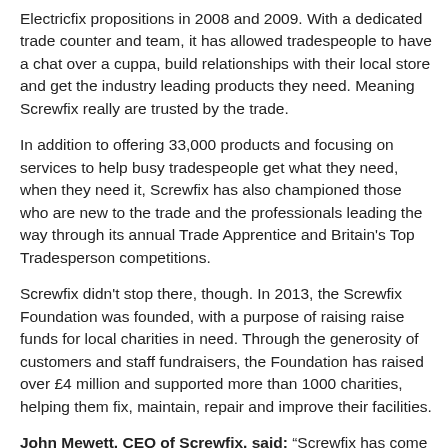Electricfix propositions in 2008 and 2009. With a dedicated trade counter and team, it has allowed tradespeople to have a chat over a cuppa, build relationships with their local store and get the industry leading products they need. Meaning Screwfix really are trusted by the trade.
In addition to offering 33,000 products and focusing on services to help busy tradespeople get what they need, when they need it, Screwfix has also championed those who are new to the trade and the professionals leading the way through its annual Trade Apprentice and Britain's Top Tradesperson competitions.
Screwfix didn't stop there, though. In 2013, the Screwfix Foundation was founded, with a purpose of raising raise funds for local charities in need. Through the generosity of customers and staff fundraisers, the Foundation has raised over £4 million and supported more than 1000 charities, helping them fix, maintain, repair and improve their facilities.
John Mewett, CEO of Screwfix, said: "Screwfix has come a very long way since its beginnings in 1979 but our customers have remained at the heart of everything we do, helping them get their jobs done quickly, affordably and right first time. We know how